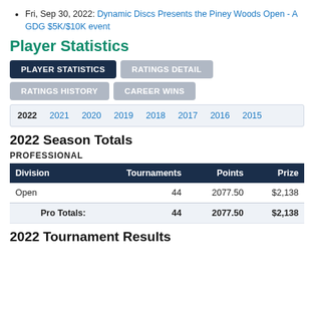Fri, Sep 30, 2022: Dynamic Discs Presents the Piney Woods Open - A GDG $5K/$10K event
Player Statistics
PLAYER STATISTICS | RATINGS DETAIL | RATINGS HISTORY | CAREER WINS
2022 2021 2020 2019 2018 2017 2016 2015
2022 Season Totals
PROFESSIONAL
| Division | Tournaments | Points | Prize |
| --- | --- | --- | --- |
| Open | 44 | 2077.50 | $2,138 |
| Pro Totals: | 44 | 2077.50 | $2,138 |
2022 Tournament Results